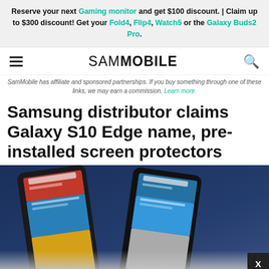Reserve your next Gaming monitor and get $100 discount. | Claim up to $300 discount! Get your Fold4, Flip4, Watch5 or the Galaxy Buds2 Pro.
SAMMOBILE
SamMobile has affiliate and sponsored partnerships. If you buy something through one of these links, we may earn a commission. Learn more.
Samsung distributor claims Galaxy S10 Edge name, pre-installed screen protectors
[Figure (photo): Two Samsung Galaxy smartphones displayed side by side on a blue fabric surface, both showing the SamMobile website on their screens. A close button (X) appears in the lower right corner.]